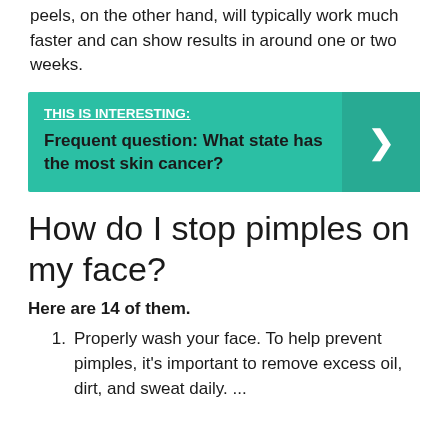peels, on the other hand, will typically work much faster and can show results in around one or two weeks.
[Figure (infographic): Teal/green banner with 'THIS IS INTERESTING:' label underlined in white, followed by bold text 'Frequent question: What state has the most skin cancer?' and a right-arrow chevron on the right side in a darker teal box.]
How do I stop pimples on my face?
Here are 14 of them.
Properly wash your face. To help prevent pimples, it’s important to remove excess oil, dirt, and sweat daily. ...